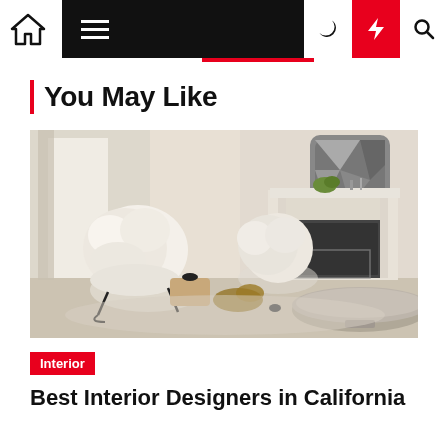Navigation bar with home, menu, moon, lightning, and search icons
You May Like
[Figure (photo): Interior living room with two fluffy white chairs, a fireplace with white surround, abstract metallic wall art, and a round stone coffee table. Soft natural light from large windows with cream curtains.]
Interior
Best Interior Designers in California